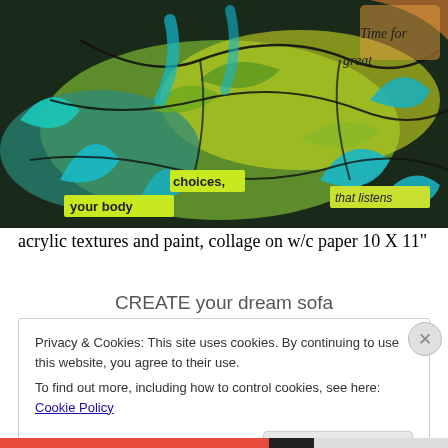[Figure (illustration): Mixed media artwork: acrylic textures and paint with collage on watercolor paper, showing tropical/botanical leaves in teal, yellow-green, and dark tones with torn paper text snippets reading 'your body', 'choices,', 'naturally', 'Time for', 'great', 'that listens']
acrylic textures and paint, collage on w/c paper 10 X 11"
CREATE your dream sofa
Privacy & Cookies: This site uses cookies. By continuing to use this website, you agree to their use.
To find out more, including how to control cookies, see here: Cookie Policy
Close and accept